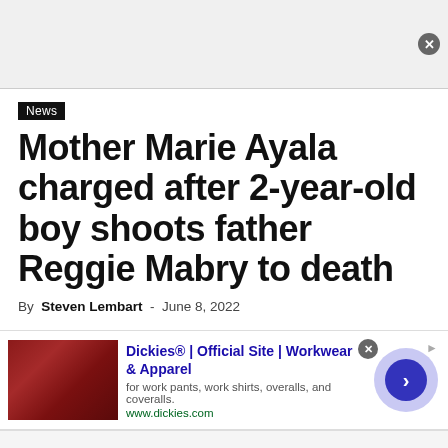[Figure (other): Top banner advertisement placeholder area with close button (X) on right side]
News
Mother Marie Ayala charged after 2-year-old boy shoots father Reggie Mabry to death
By Steven Lembart - June 8, 2022
[Figure (other): Advertisement for Dickies workwear showing a leather/vinyl seat image on left, ad text in middle (Dickies® | Official Site | Workwear & Apparel, for work pants, work shirts, overalls, and coveralls. www.dickies.com), a circular arrow button on right, with close (X) button and ad indicator]